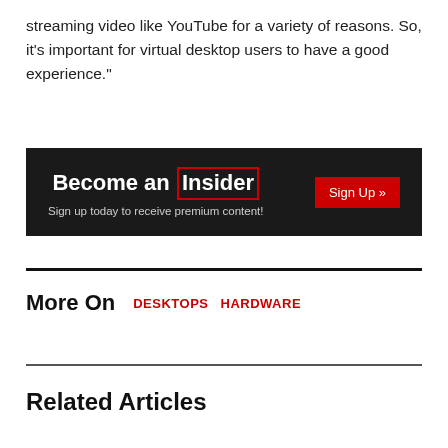streaming video like YouTube for a variety of reasons. So, it’s important for virtual desktop users to have a good experience."
[Figure (infographic): Dark banner ad: 'Become an Insider' with 'Insider' in a red-bordered box. Subtext: 'Sign up today to receive premium content!' and a red 'Sign Up »' button on the right.]
More On   DESKTOPS   HARDWARE
Related Articles